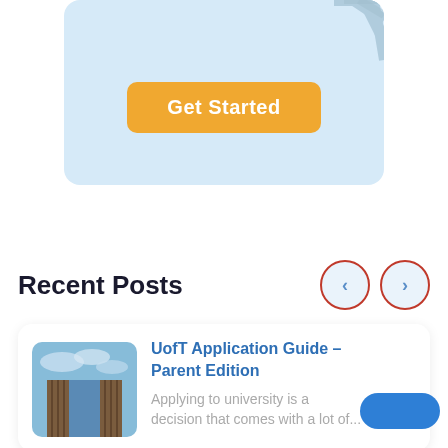[Figure (screenshot): Light blue card with a 'Get Started' orange button and diagonal stripe pattern in top-right corner]
Recent Posts
[Figure (other): Navigation left and right arrow buttons with red circular border on light blue background]
[Figure (photo): Photo of a modern building with blue sky]
UofT Application Guide – Parent Edition
Applying to university is a decision that comes with a lot of...